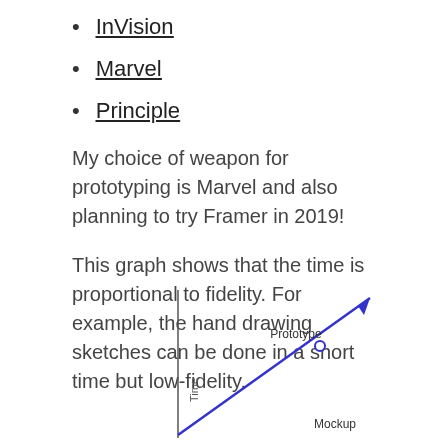InVision
Marvel
Principle
My choice of weapon for prototyping is Marvel and also planning to try Framer in 2019!
This graph shows that the time is proportional to fidelity. For example, the hand drawing sketches can be done in a short time but low-fidelity.
[Figure (continuous-plot): A graph showing time (y-axis) vs fidelity (x-axis) as a straight diagonal line with an arrow going upward-right. Points labeled 'Mockup' and 'Prototype' are marked along the line, with 'Prototype' higher up. The y-axis is labeled 'Time'.]